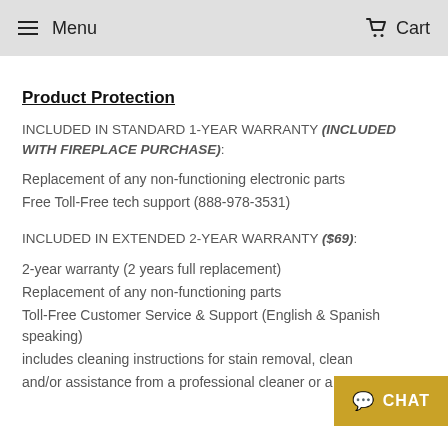Menu  Cart
Product Protection
INCLUDED IN STANDARD 1-YEAR WARRANTY (INCLUDED WITH FIREPLACE PURCHASE):
Replacement of any non-functioning electronic parts
Free Toll-Free tech support (888-978-3531)
INCLUDED IN EXTENDED 2-YEAR WARRANTY ($69):
2-year warranty (2 years full replacement)
Replacement of any non-functioning parts
Toll-Free Customer Service & Support (English & Spanish speaking)
includes cleaning instructions for stain removal, cleaning
and/or assistance from a professional cleaner or a repair